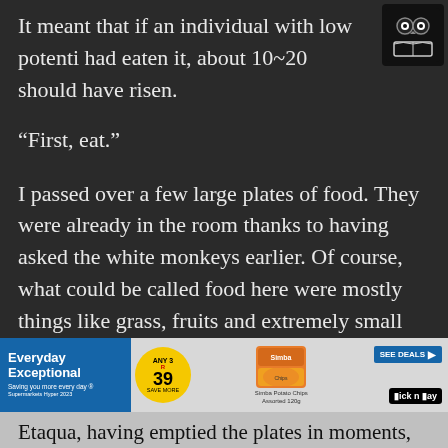It meant that if an individual with low potenti had eaten it, about 10~20 should have risen.
[Figure (logo): Book reader app icon: dark square with white owl eyes and open book silhouette]
“First, eat.”
I passed over a few large plates of food. They were already in the room thanks to having asked the white monkeys earlier. Of course, what could be called food here were mostly things like grass, fruits and extremely small amounts of meat. The food was cooked as little as possible thus retaining natural flavors, which was a plus, but it wasn’t able to completely fill Etaqua’s stomach.
[Figure (screenshot): Pick n Pay advertisement banner showing Everyday Exceptional branding, ANY 3 for R39 deal badge, Simba Potato Chips Assorted 120g product image, SEE DEALS button, and Pick n Pay logo]
Etaqua, having emptied the plates in moments,